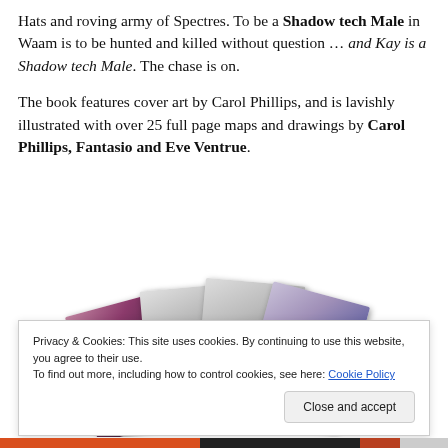Hats and roving army of Spectres. To be a Shadow tech Male in Waam is to be hunted and killed without question … and Kay is a Shadow tech Male. The chase is on.
The book features cover art by Carol Phillips, and is lavishly illustrated with over 25 full page maps and drawings by Carol Phillips, Fantasio and Eve Ventrue.
[Figure (illustration): Fan of four illustrated book cover/interior art cards showing fantasy scenes with figures in dramatic landscapes, rendered in dark moody tones of purple, pink, grey and black.]
Privacy & Cookies: This site uses cookies. By continuing to use this website, you agree to their use.
To find out more, including how to control cookies, see here: Cookie Policy
Close and accept